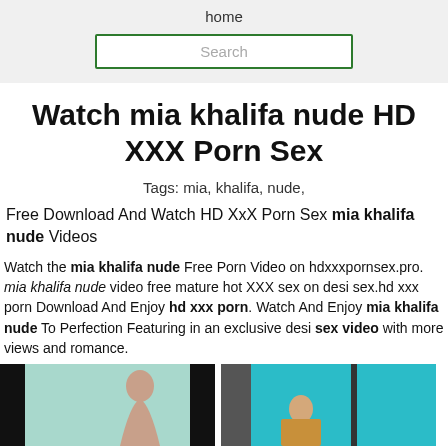home
Search
Watch mia khalifa nude HD XXX Porn Sex
Tags: mia, khalifa, nude,
Free Download And Watch HD XxX Porn Sex mia khalifa nude Videos
Watch the mia khalifa nude Free Porn Video on hdxxxpornsex.pro. mia khalifa nude video free mature hot XXX sex on desi sex.hd xxx porn Download And Enjoy hd xxx porn. Watch And Enjoy mia khalifa nude To Perfection Featuring in an exclusive desi sex video with more views and romance.
[Figure (photo): Thumbnail image left]
[Figure (photo): Thumbnail image right]